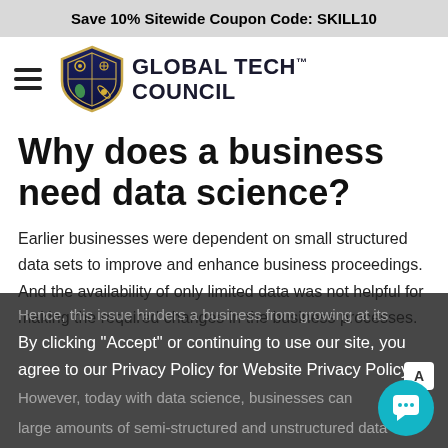Save 10% Sitewide Coupon Code: SKILL10
[Figure (logo): Global Tech Council logo with shield emblem and text 'GLOBAL TECH COUNCIL']
Why does a business need data science?
Earlier businesses were dependent on small structured data sets to improve and enhance business proceedings. And the availability of only limited data was not helpful for making the required changes in the business processes.
Hence, this issue hinders a business from growing at its
By clicking "Accept" or continuing to use our site, you agree to our Privacy Policy for Website Privacy Policy
However, today with data science, businesses can
large amounts of semi-structured and unstructured data